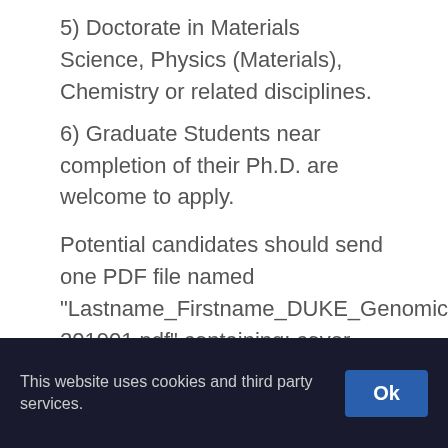5) Doctorate in Materials Science, Physics (Materials), Chemistry or related disciplines.
6) Graduate Students near completion of their Ph.D. are welcome to apply.
Potential candidates should send one PDF file named “Lastname_Firstname_DUKE_Genomics-201901.pdf” containing: cover-letter, curriculum vitae and the names/emails/phone of three references to jobs@materials.duke.edu
This website uses cookies and third party services. Ok